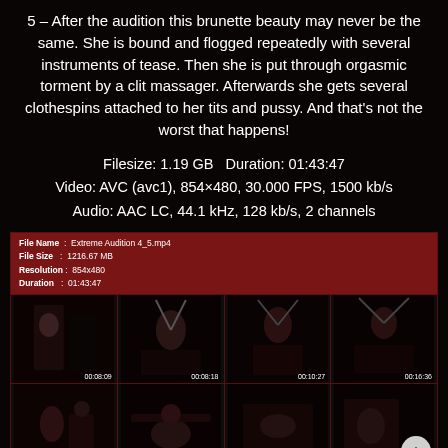5 – After the audition this brunette beauty may never be the same. She is bound and flogged repeatedly with several instruments of tease. Then she is put through orgasmic torment by a clit massager. Afterwards she gets several clothespins attached to her tits and pussy. And that's not the worst that happens!
Filesize: 1.19 GB  Duration: 01:43:47
Video: AVC (avc1), 854×480, 30.000 FPS, 1500 kb/s
Audio: AAC LC, 44.1 kHz, 128 kb/s, 2 channels
[Figure (screenshot): Video file info panel showing file name, file size, resolution, duration, and a 4x2 grid of video thumbnails with timestamps including 00:08:09, 00:08:18, 00:10:27, 00:16:36, 00:20:45, 00:28:54, 00:28:03]